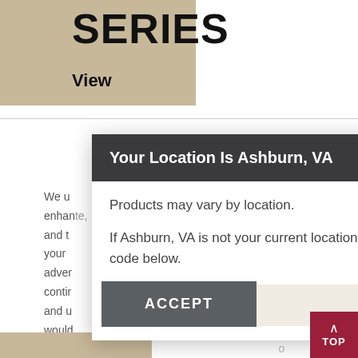SERIES
View
We u... enhan... te, and t... nt to your adver... contir... nt and u... d would... place... o reject...
[Figure (screenshot): Location modal dialog with dark header 'Your Location Is Ashburn, VA' with X close button. Body text: 'Products may vary by location.' and 'If Ashburn, VA is not your current location, please enter the correct ZIP code below.' ZIP code input field with Continue button in dark red.]
ACCEPT
TOP